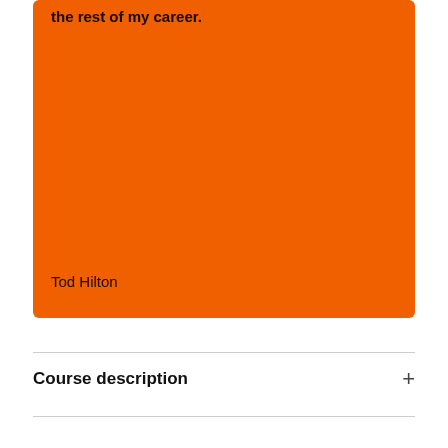the rest of my career.
Tod Hilton
Course description